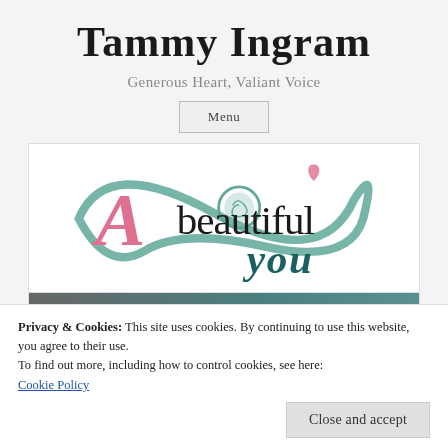Tammy Ingram
Generous Heart, Valiant Voice
Menu
[Figure (logo): A Beautiful You logo — stylized letter A in pink, 'beautiful' in black, 'you' in dark teal script, with teal swirl/infinity background]
Privacy & Cookies: This site uses cookies. By continuing to use this website, you agree to their use.
To find out more, including how to control cookies, see here:
Cookie Policy
Close and accept